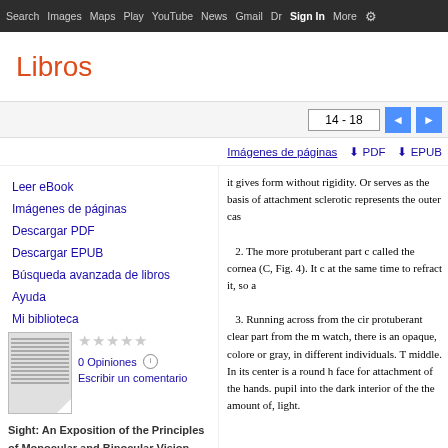Search  Images  Maps  Play  YouTube  News  Gmail  Dr  Sign In  More  ⚙
Libros
14 - 18
Imágenes de páginas  ⬇ PDF  ⬇ EPUB
Leer eBook
Imágenes de páginas
Descargar PDF
Descargar EPUB
Búsqueda avanzada de libros
Ayuda
Mi biblioteca
★★★★★
0 Opiniones ⓘ
Escribir un comentario
Sight: An Exposition of the Principles of Monocular and Binocular Vision
it gives form without rigidity. Or serves as the basis of attachment sclerotic represents the outer cas
2. The more protuberant part called the cornea (C, Fig. 4). It c at the same time to refract it, so a
3. Running across from the cir protuberant clear part from the m watch, there is an opaque, colore or gray, in different individuals. T middle. In its center is a round h face for attachment of the hands. pupil into the dark interior of the the amount of, light.